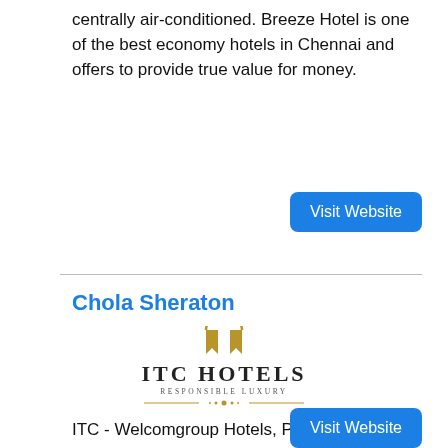centrally air-conditioned. Breeze Hotel is one of the best economy hotels in Chennai and offers to provide true value for money.
Visit Website
Chola Sheraton
[Figure (logo): ITC Hotels Responsible Luxury logo with a golden Namaste hands symbol above the text]
ITC - Welcomgroup Hotels, Palaces and Resorts, is today one of India's finest hotel chains, with its distinctive logo of hands folded in the traditional Namaste is widely recognised as the ultimate in Indian hospitality.
Visit Website